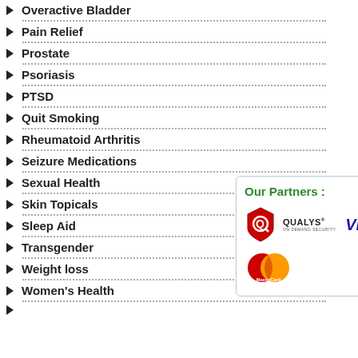Overactive Bladder
Pain Relief
Prostate
Psoriasis
PTSD
Quit Smoking
Rheumatoid Arthritis
Seizure Medications
Sexual Health
Skin Topicals
Sleep Aid
Transgender
Weight loss
Women's Health
recommended by licensed media you will receive prescription.
Our Partners :
[Figure (logo): Qualys On Demand Security logo, Visa logo, and MasterCard logo displayed as partner logos]